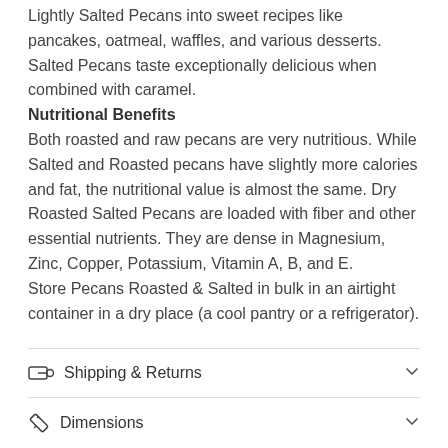Lightly Salted Pecans into sweet recipes like pancakes, oatmeal, waffles, and various desserts. Salted Pecans taste exceptionally delicious when combined with caramel.
Nutritional Benefits
Both roasted and raw pecans are very nutritious. While Salted and Roasted pecans have slightly more calories and fat, the nutritional value is almost the same. Dry Roasted Salted Pecans are loaded with fiber and other essential nutrients. They are dense in Magnesium, Zinc, Copper, Potassium, Vitamin A, B, and E.
Store Pecans Roasted & Salted in bulk in an airtight container in a dry place (a cool pantry or a refrigerator).
Shipping & Returns
Dimensions